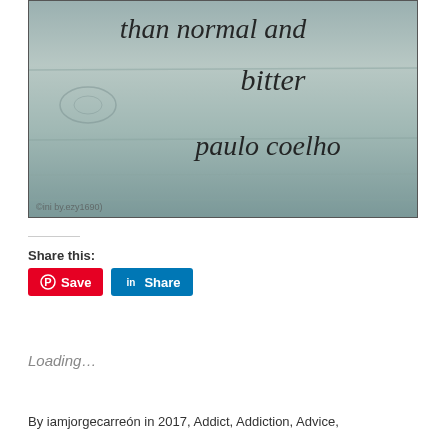[Figure (photo): Black and white photo of wooden planks with handwritten text reading 'than normal and bitter paulo coelho'. Watermark reads 'ezy1690'.]
Share this:
Save  Share
Loading...
By iamjorgecarreón in 2017, Addict, Addiction, Advice,